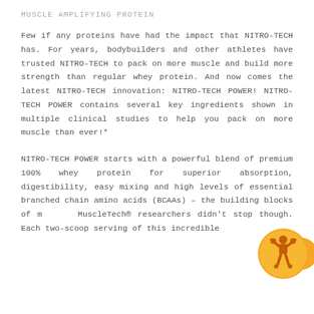MUSCLE AMPLIFYING PROTEIN
Few if any proteins have had the impact that NITRO-TECH has. For years, bodybuilders and other athletes have trusted NITRO-TECH to pack on more muscle and build more strength than regular whey protein. And now comes the latest NITRO-TECH innovation: NITRO-TECH POWER! NITRO-TECH POWER contains several key ingredients shown in multiple clinical studies to help you pack on more muscle than ever!*
NITRO-TECH POWER starts with a powerful blend of premium 100% whey protein for superior absorption, digestibility, easy mixing and high levels of essential branched chain amino acids (BCAAs) – the building blocks of m... MuscleTech® researchers didn't stop though. Each two-scoop serving of this incredible
[Figure (logo): MuscleTech orange and yellow circular logo with cartoon muscular figure]